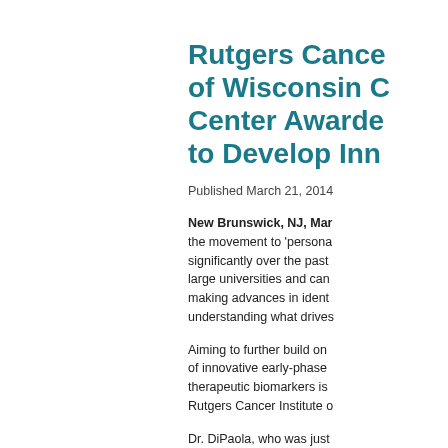Rutgers Cancer Institute of Wisconsin Cancer Center Awarded Grant to Develop Innovative...
Published March 21, 2014
New Brunswick, NJ, Mar... the movement to 'personalize' cancer treatment has grown significantly over the past decade with large universities and cancer centers making advances in identifying and understanding what drives...
Aiming to further build on the development of innovative early-phase clinical trials, therapeutic biomarkers is... Rutgers Cancer Institute of...
Dr. DiPaola, who was just awarded a grant (UM1CA186716) by the National Institutes of Health for experimental therapeutics... investigators from the Un...